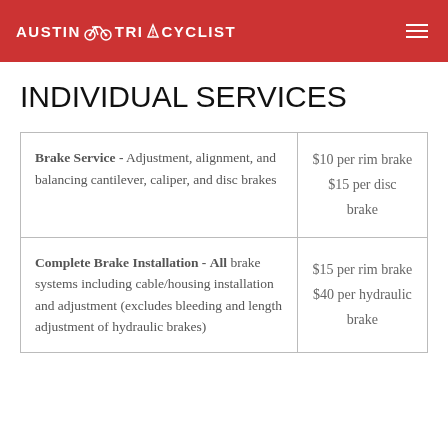AUSTIN TRI CYCLIST
INDIVIDUAL SERVICES
| Service | Price |
| --- | --- |
| Brake Service - Adjustment, alignment, and balancing cantilever, caliper, and disc brakes | $10 per rim brake $15 per disc brake |
| Complete Brake Installation - All brake systems including cable/housing installation and adjustment (excludes bleeding and length adjustment of hydraulic brakes) | $15 per rim brake $40 per hydraulic brake |